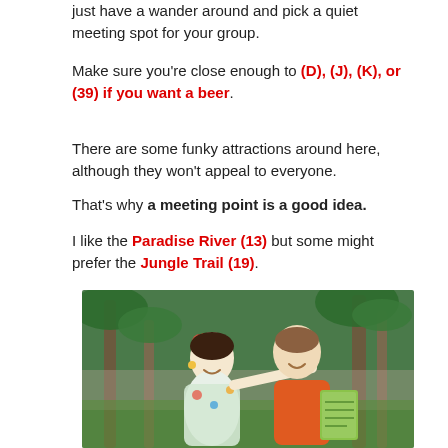just have a wander around and pick a quiet meeting spot for your group.
Make sure you're close enough to (D), (J), (K), or (39) if you want a beer.
There are some funky attractions around here, although they won't appeal to everyone.
That's why a meeting point is a good idea.
I like the Paradise River (13) but some might prefer the Jungle Trail (19).
[Figure (photo): Two people smiling outdoors among palm trees. A woman in a colorful floral dress with a flower in her hair is pointing at something while a man in an orange t-shirt holds a map. Tropical garden setting.]